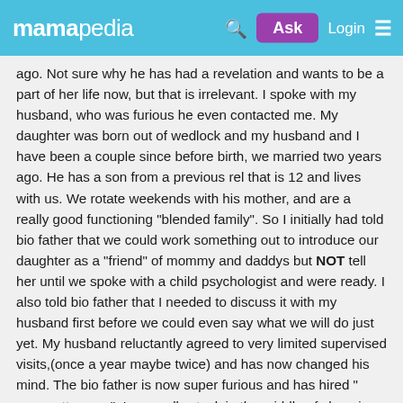mamapedia | Ask | Login | menu
ago. Not sure why he has had a revelation and wants to be a part of her life now, but that is irrelevant. I spoke with my husband, who was furious he even contacted me. My daughter was born out of wedlock and my husband and I have been a couple since before birth, we married two years ago. He has a son from a previous rel that is 12 and lives with us. We rotate weekends with his mother, and are a really good functioning "blended family". So I initially had told bio father that we could work something out to introduce our daughter as a "friend" of mommy and daddys but NOT tell her until we spoke with a child psychologist and were ready. I also told bio father that I needed to discuss it with my husband first before we could even say what we will do just yet. My husband reluctantly agreed to very limited supervised visits,(once a year maybe twice) and has now changed his mind. The bio father is now super furious and has hired " super attorneys". I am really stuck in the middle of choosing my husbands side to completely bar bio dad from her life (which I don't agree with), or allow him to just see her. Bio